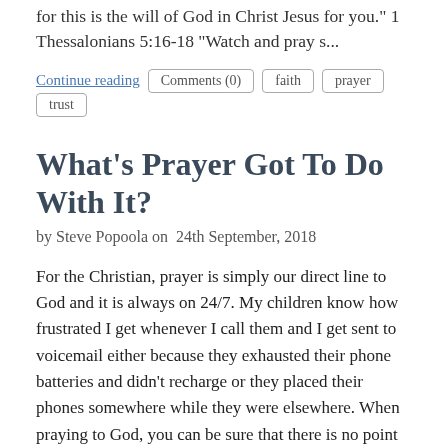for this is the will of God in Christ Jesus for you." 1 Thessalonians 5:16-18 "Watch and pray s...
Continue reading   Comments (0)   faith   prayer   trust
What's Prayer Got To Do With It?
by Steve Popoola on  24th September, 2018
For the Christian, prayer is simply our direct line to God and it is always on 24/7. My children know how frustrated I get whenever I call them and I get sent to voicemail either because they exhausted their phone batteries and didn't recharge or they placed their phones somewhere while they were elsewhere. When praying to God, you can be sure that there is no point of failure. When we pray in Jesus name, heaven hears us instantly. There is no linking from